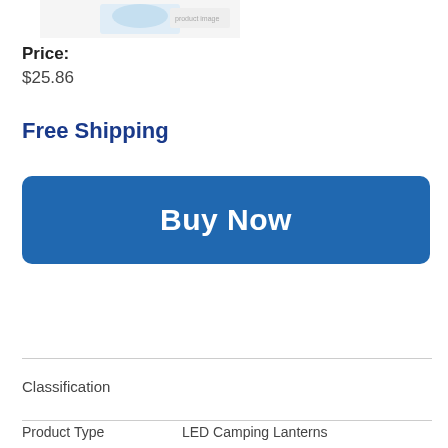[Figure (photo): Partial product image visible at top of page]
Price:
$25.86
Free Shipping
[Figure (other): Buy Now button - blue rounded rectangle with white bold text]
Classification
Product Type    LED Camping Lanterns